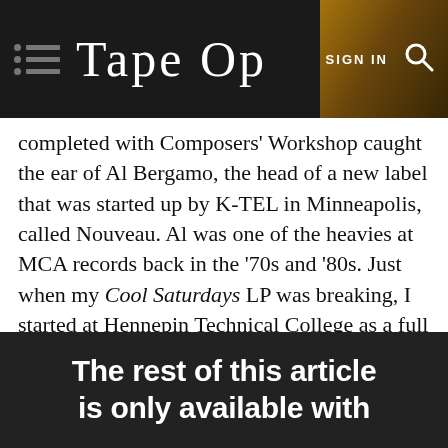TAPE OP — SIGN IN
completed with Composers' Workshop caught the ear of Al Bergamo, the head of a new label that was started up by K-TEL in Minneapolis, called Nouveau. Al was one of the heavies at MCA records back in the '70s and '80s. Just when my Cool Saturdays LP was breaking, I started at Hennepin Technical College as a full time recording school guy, so I couldn't...
The rest of this article is only available with